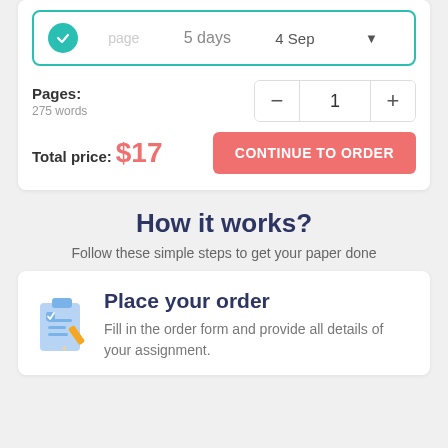page   5 days   4 Sep ▼
Pages:
275 words
Total price: $17
CONTINUE TO ORDER
How it works?
Follow these simple steps to get your paper done
Place your order
Fill in the order form and provide all details of your assignment.